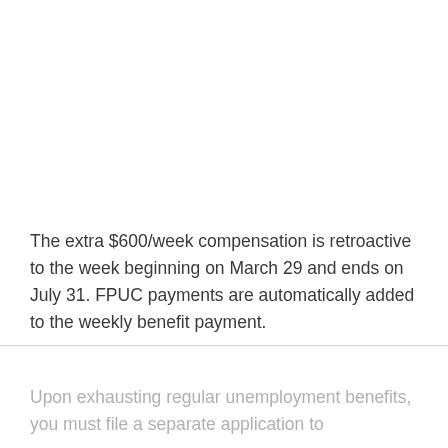The extra $600/week compensation is retroactive to the week beginning on March 29 and ends on July 31. FPUC payments are automatically added to the weekly benefit payment.
Upon exhausting regular unemployment benefits, you must file a separate application to